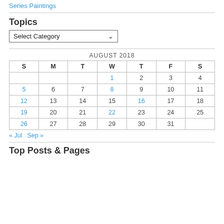Series Paintings
Topics
Select Category
| S | M | T | W | T | F | S |
| --- | --- | --- | --- | --- | --- | --- |
|  |  |  | 1 | 2 | 3 | 4 |
| 5 | 6 | 7 | 8 | 9 | 10 | 11 |
| 12 | 13 | 14 | 15 | 16 | 17 | 18 |
| 19 | 20 | 21 | 22 | 23 | 24 | 25 |
| 26 | 27 | 28 | 29 | 30 | 31 |  |
« Jul   Sep »
Top Posts & Pages